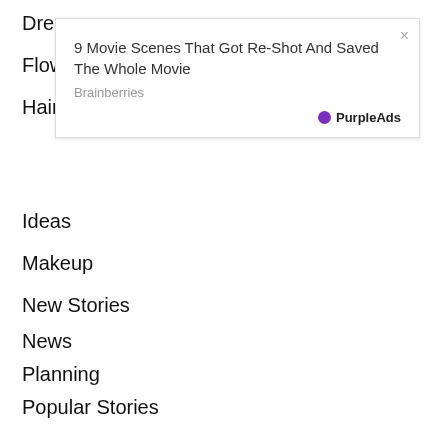Dres
Flow
Hair
[Figure (screenshot): Ad overlay box with title '9 Movie Scenes That Got Re-Shot And Saved The Whole Movie', source 'Brainberries', close button X, and PurpleAds branding]
Ideas
Makeup
New Stories
News
Planning
Popular Stories
Press Room
Readers' Favorites
Tips